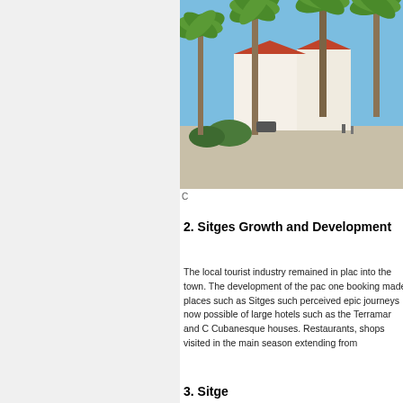[Figure (photo): Outdoor promenade scene with tall palm trees lining a wide walkway, white buildings with red roofs visible in the background, clear blue sky, Sitges coastal area]
C
2. Sitges Growth and Development
The local tourist industry remained in place into the town. The development of the pac one booking made places such as Sitges such perceived epic journeys now possible of large hotels such as the Terramar and C Cubanesque houses. Restaurants, shops visited in the main season extending from
3. Sitge...